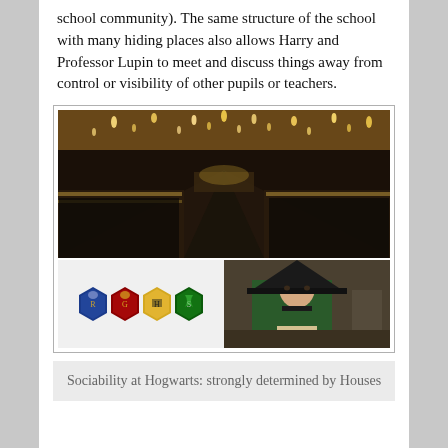school community). The same structure of the school with many hiding places also allows Harry and Professor Lupin to meet and discuss things away from control or visibility of other pupils or teachers.
[Figure (photo): Top: A wide photo of the Hogwarts Great Hall filled with students in black robes sitting at long dining tables under floating candles. Bottom-left: Four Hogwarts house crests (Ravenclaw, Gryffindor, Hufflepuff, Slytherin). Bottom-right: Photo of Professor McGonagall in green robes and black witch hat.]
Sociability at Hogwarts: strongly determined by Houses